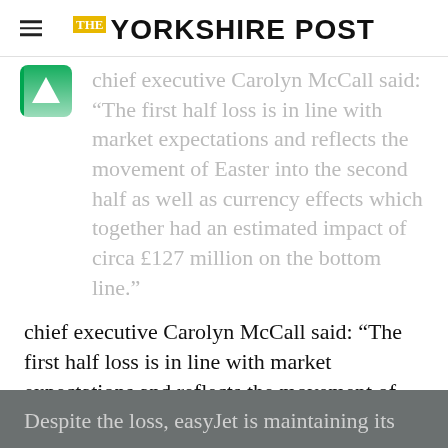THE YORKSHIRE POST
chief executive Carolyn McCall said: "The first half loss is in line with market expectations and reflects the movement of Easter into the second half as well as currency effects which together had an estimated impact of circa £127 million on the bottom line."
However, Dame Carolyn added that summer bookings are ahead of last year and that demand for flights and holidays remains “strong”, with consumers prioritising travel expenditure over “non-essential” items.
Despite the loss, easyJet is maintaining its